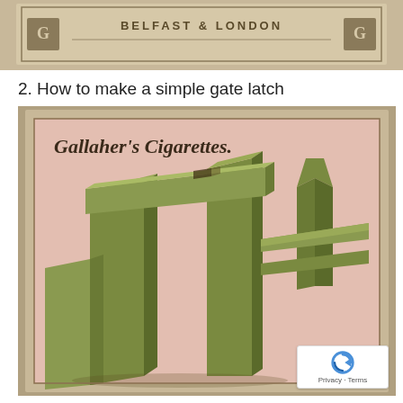[Figure (photo): Top portion of a vintage Gallaher's Cigarettes card showing the text 'BELFAST & LONDON' with decorative elements on a tan/beige background]
2. How to make a simple gate latch
[Figure (illustration): Gallaher's Cigarettes card showing an illustrated diagram of a simple wooden gate latch mechanism. Green-colored wooden fence posts and a horizontal latch piece are shown in a 3D perspective view against a pink textured background. The card reads 'Gallaher's Cigarettes.' at the top in decorative italic text.]